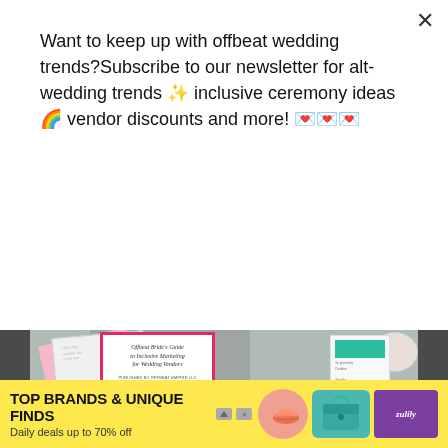Want to keep up with offbeat wedding trends?Subscribe to our newsletter for alt-wedding trends ✨ inclusive ceremony ideas 🌈 vendor discounts and more! 💌💌💌
EFF YEAH SUBSCRIBE ME!
[Figure (photo): Marketing materials for Offbeat Bride's Guide to Inclusive Marketing for Wedding Vendors, showing a book cover with pink border, printed booklets, a coffee cup, and a succulent on a light blue-gray surface. A teal banner at the bottom partially shows the guide title.]
[Figure (advertisement): Ad banner for Zulily: TOP BRANDS & UNIQUE FINDS, Daily deals up to 70% off, showing images of a shoe, handbag, and purple Zulily logo on a yellow background.]